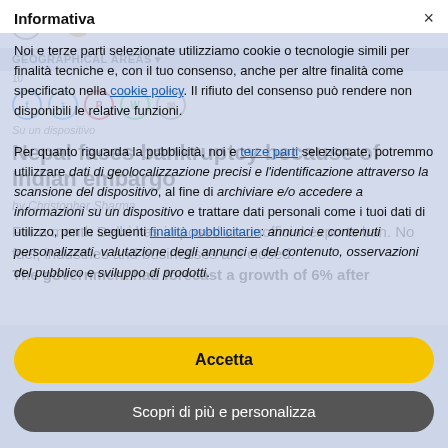PIME Asia News - Navigation bar with logo and language selector
GEOGRAPHICAL AREAS
10 [date]
[Figure (other): Social media share icons: Facebook, Twitter, Pinterest, WhatsApp, Email]
Nepal faces bankruptcy because of Indian embargo
by Christopher Sharma
For a month Delhi has imposed an unofficial exports ban. No fuel, industries and businesses are closed. The government had forecast a growth of 6% after
Informativa

Noi e terze parti selezionate utilizziamo cookie o tecnologie simili per finalità tecniche e, con il tuo consenso, anche per altre finalità come specificato nella cookie policy. Il rifiuto del consenso può rendere non disponibili le relative funzioni.

Per quanto riguarda la pubblicità, noi e terze parti selezionate, potremmo utilizzare dati di geolocalizzazione precisi e l'identificazione attraverso la scansione del dispositivo, al fine di archiviare e/o accedere a informazioni su un dispositivo e trattare dati personali come i tuoi dati di utilizzo, per le seguenti finalità pubblicitarie: annunci e contenuti personalizzati, valutazione degli annunci e del contenuto, osservazioni del pubblico e sviluppo di prodotti.
Accetta
Scopri di più e personalizza